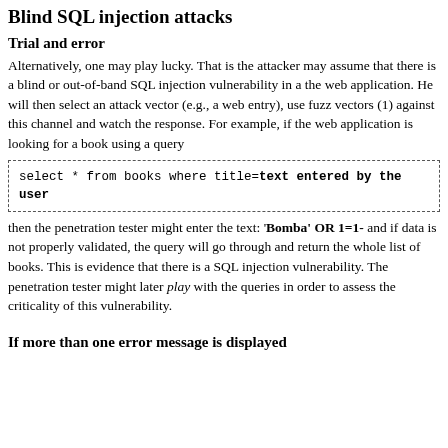Blind SQL injection attacks
Trial and error
Alternatively, one may play lucky. That is the attacker may assume that there is a blind or out-of-band SQL injection vulnerability in a the web application. He will then select an attack vector (e.g., a web entry), use fuzz vectors (1) against this channel and watch the response. For example, if the web application is looking for a book using a query
select * from books where title=text entered by the user
then the penetration tester might enter the text: 'Bomba' OR 1=1- and if data is not properly validated, the query will go through and return the whole list of books. This is evidence that there is a SQL injection vulnerability. The penetration tester might later play with the queries in order to assess the criticality of this vulnerability.
If more than one error message is displayed